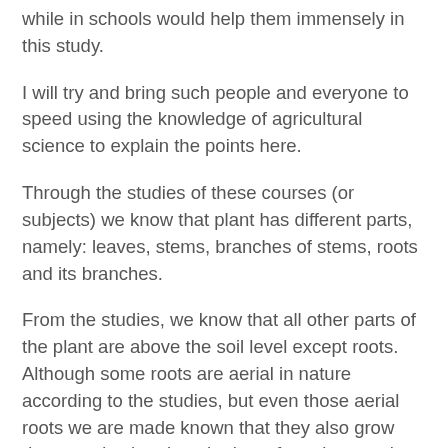while in schools would help them immensely in this study.
I will try and bring such people and everyone to speed using the knowledge of agricultural science to explain the points here.
Through the studies of these courses (or subjects) we know that plant has different parts, namely: leaves, stems, branches of stems, roots and its branches.
From the studies, we know that all other parts of the plant are above the soil level except roots. Although some roots are aerial in nature according to the studies, but even those aerial roots we are made known that they also grow downwards, the obey the law of gravity, growing downwards.
Those aerial roots are not common, because they are specialized ones, and have been designed by God to make provisions for some changes that have happened to the